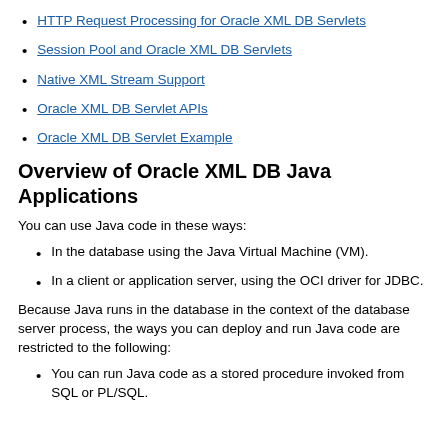HTTP Request Processing for Oracle XML DB Servlets
Session Pool and Oracle XML DB Servlets
Native XML Stream Support
Oracle XML DB Servlet APIs
Oracle XML DB Servlet Example
Overview of Oracle XML DB Java Applications
You can use Java code in these ways:
In the database using the Java Virtual Machine (VM).
In a client or application server, using the OCI driver for JDBC.
Because Java runs in the database in the context of the database server process, the ways you can deploy and run Java code are restricted to the following:
You can run Java code as a stored procedure invoked from SQL or PL/SQL.